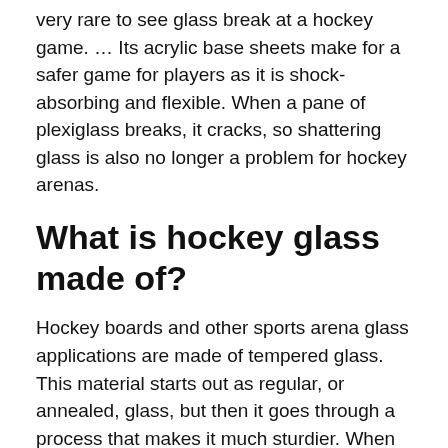very rare to see glass break at a hockey game. … Its acrylic base sheets make for a safer game for players as it is shock-absorbing and flexible. When a pane of plexiglass breaks, it cracks, so shattering glass is also no longer a problem for hockey arenas.
What is hockey glass made of?
Hockey boards and other sports arena glass applications are made of tempered glass. This material starts out as regular, or annealed, glass, but then it goes through a process that makes it much sturdier. When glass is tempered, it is first heated in a